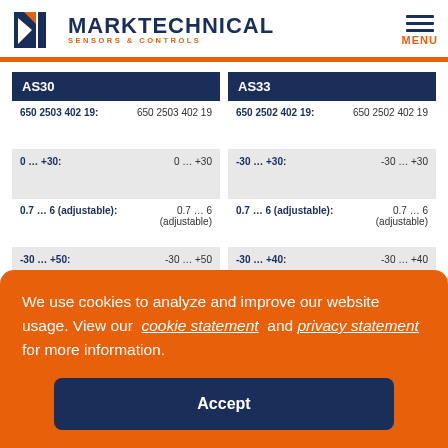MARKTECHNICAL SENSORS & CONTROLS — MENU
| AS30 |  |
| --- | --- |
| 650 2503 402 19: | 650 2503 402 19 |
| 0 … +30: | 0 … +30 |
| 0.7 … 6 (adjustable): | 0.7 … 6 (adjustable) |
| -30 … +50: | -30 … +50 |
| AS33 |  |
| --- | --- |
| 650 2502 402 19: | 650 2502 402 19 |
| -30 … +30: | -30 … +30 |
| 0.7 … 6 (adjustable): | 0.7 … 6 (adjustable) |
| -30 … +40: | -30 … +40 |
We use cookies to analyze and improve our website usage. View our cookie statement and privacy statement for more information.
Accept